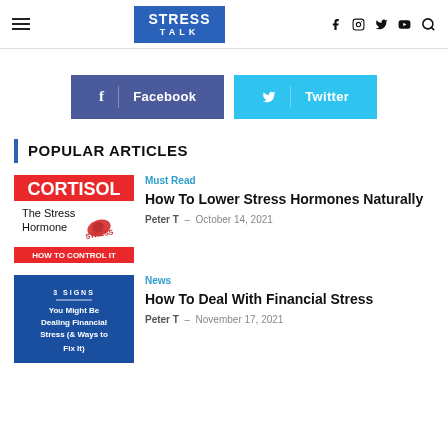STRESS TALK — navigation with social icons (f, Instagram, Twitter, YouTube, Search)
[Figure (infographic): Facebook and Twitter share buttons]
POPULAR ARTICLES
[Figure (illustration): Cortisol The Stress Hormone - How To Control It thumbnail]
Must Read
How To Lower Stress Hormones Naturally
Peter T - October 14, 2021
[Figure (illustration): 3 Signs You Might Be Dealing Financial Stress (& Ways to Fix It) blue background thumbnail]
News
How To Deal With Financial Stress
Peter T - November 17, 2021